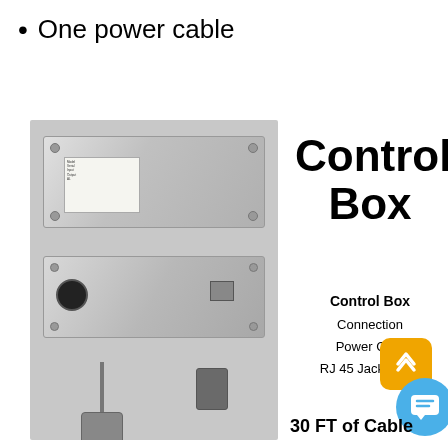One power cable
[Figure (photo): Two views of a metal control box (front and rear panels) with ports and connectors, plus cable connectors at bottom, photographed against a gray background]
Control Box
Control Box
Connection
Power Cord
RJ 45 Jack to PC
30 FT of Cable